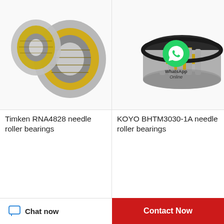[Figure (photo): Timken RNA4828 needle roller bearings - two disassembled bearing rings shown, one with gold-colored roller cage]
Timken RNA4828 needle roller bearings
[Figure (photo): KOYO BHTM3030-1A needle roller bearings - large spherical roller bearing shown with gold cage and WhatsApp Online overlay badge]
KOYO BHTM3030-1A needle roller bearings
[Figure (photo): Needle roller bearing (partial view, bottom-left) - dark grey bearing ring with ribbed inner surface]
[Figure (photo): Needle roller bearing (partial view, bottom-right) - silver/grey bearing partially visible]
Chat now
Contact Now